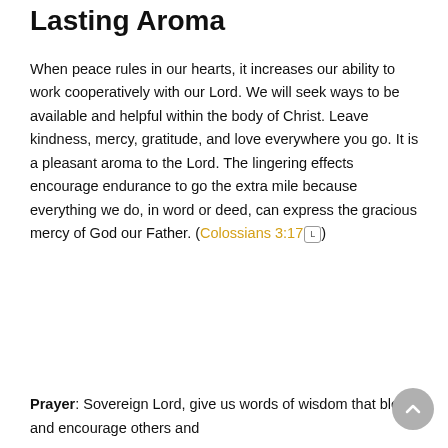Lasting Aroma
When peace rules in our hearts, it increases our ability to work cooperatively with our Lord. We will seek ways to be available and helpful within the body of Christ. Leave kindness, mercy, gratitude, and love everywhere you go. It is a pleasant aroma to the Lord. The lingering effects encourage endurance to go the extra mile because everything we do, in word or deed, can express the gracious mercy of God our Father. (Colossians 3:17)
Prayer: Sovereign Lord, give us words of wisdom that bless and encourage others and...